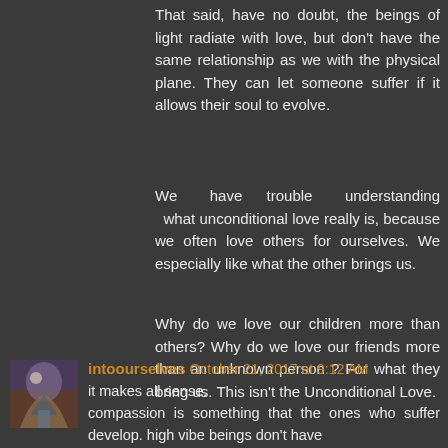That said, have no doubt, the beings of light radiate with love, but don't have the same relationship as we with the physical plane. They can let someone suffer if it allows their soul to evolve.
We have trouble understanding what unconditional love really is, because we often love others for ourselves. We especially like what the other brings us.
Why do we love our children more than others? Why do we love our friends more than an unknown person ? For what they bring us. This isn't the Unconditional Love.
intoourselves October 21, 2017 at 9:12 AM
it makes all sense.
compassion is something that the ones who suffer develop. high vibe beings don't have